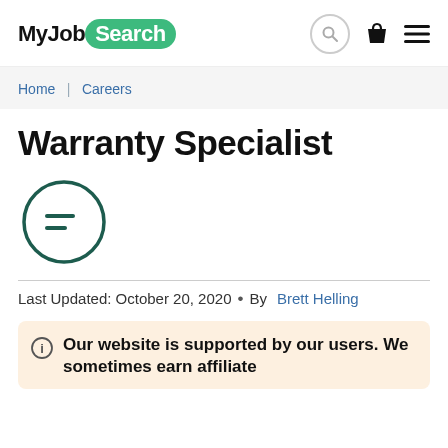MyJobSearch
Home | Careers
Warranty Specialist
[Figure (illustration): Circle icon with two horizontal lines resembling a list/menu icon, outlined in dark teal]
Last Updated: October 20, 2020  •  By Brett Helling
Our website is supported by our users. We sometimes earn affiliate